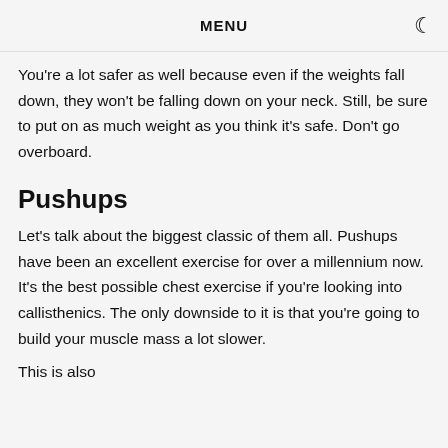MENU
You're a lot safer as well because even if the weights fall down, they won't be falling down on your neck. Still, be sure to put on as much weight as you think it's safe. Don't go overboard.
Pushups
Let's talk about the biggest classic of them all. Pushups have been an excellent exercise for over a millennium now. It's the best possible chest exercise if you're looking into callisthenics. The only downside to it is that you're going to build your muscle mass a lot slower.
This is also...